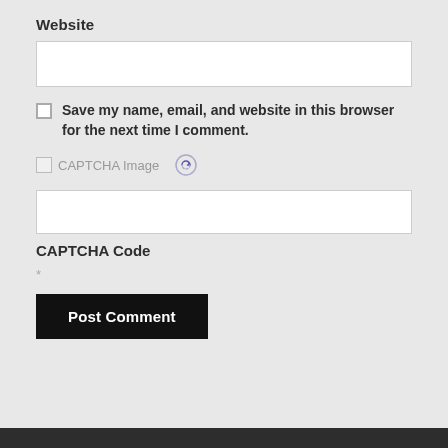Website
[Figure (screenshot): Empty white input box for Website field]
Save my name, email, and website in this browser for the next time I comment.
[Figure (screenshot): CAPTCHA Image placeholder with refresh icon]
[Figure (screenshot): Empty white input box for CAPTCHA code]
CAPTCHA Code
*
Post Comment